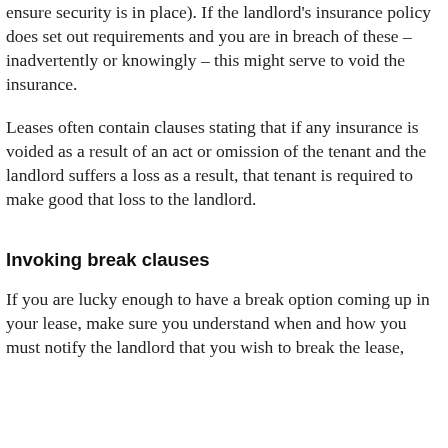ensure security is in place). If the landlord's insurance policy does set out requirements and you are in breach of these – inadvertently or knowingly – this might serve to void the insurance.
Leases often contain clauses stating that if any insurance is voided as a result of an act or omission of the tenant and the landlord suffers a loss as a result, that tenant is required to make good that loss to the landlord.
Invoking break clauses
If you are lucky enough to have a break option coming up in your lease, make sure you understand when and how you must notify the landlord that you wish to break the lease,